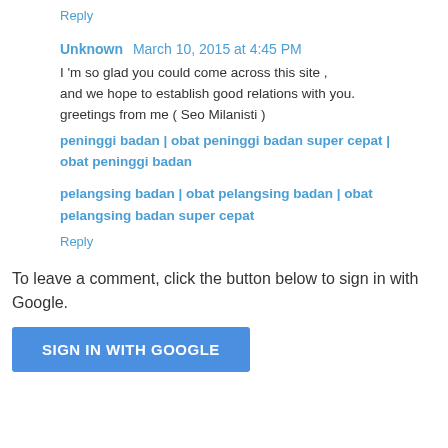Reply
Unknown  March 10, 2015 at 4:45 PM
I 'm so glad you could come across this site , and we hope to establish good relations with you. greetings from me ( Seo Milanisti )
peninggi badan | obat peninggi badan super cepat | obat peninggi badan
pelangsing badan | obat pelangsing badan | obat pelangsing badan super cepat
Reply
To leave a comment, click the button below to sign in with Google.
SIGN IN WITH GOOGLE